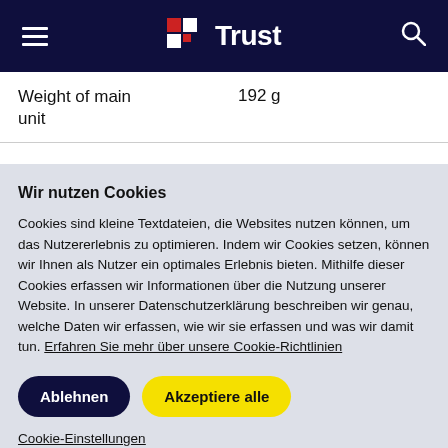Trust
| Weight of main unit | 192 g |
| --- | --- |
Wir nutzen Cookies
Cookies sind kleine Textdateien, die Websites nutzen können, um das Nutzererlebnis zu optimieren. Indem wir Cookies setzen, können wir Ihnen als Nutzer ein optimales Erlebnis bieten. Mithilfe dieser Cookies erfassen wir Informationen über die Nutzung unserer Website. In unserer Datenschutzerklärung beschreiben wir genau, welche Daten wir erfassen, wie wir sie erfassen und was wir damit tun. Erfahren Sie mehr über unsere Cookie-Richtlinien
Ablehnen
Akzeptiere alle
Cookie-Einstellungen